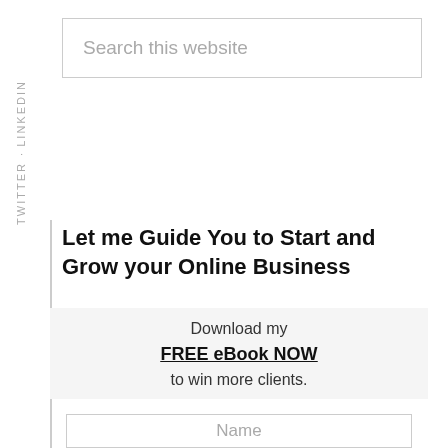TWITTER · LINKEDIN
[Figure (screenshot): Search this website input box]
Let me Guide You to Start and Grow your Online Business
Download my FREE eBook NOW to win more clients.
[Figure (screenshot): Name input field form box]